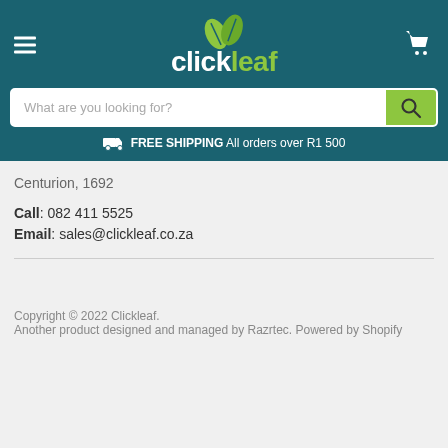[Figure (logo): Clickleaf logo with two green leaves above the text 'click' in white bold and 'leaf' in green, on a teal background]
[Figure (screenshot): Search bar with placeholder text 'What are you looking for?' and a green search button]
FREE SHIPPING All orders over R1 500
Centurion, 1692
Call: 082 411 5525
Email: sales@clickleaf.co.za
Copyright © 2022 Clickleaf.
Another product designed and managed by Razrtec. Powered by Shopify